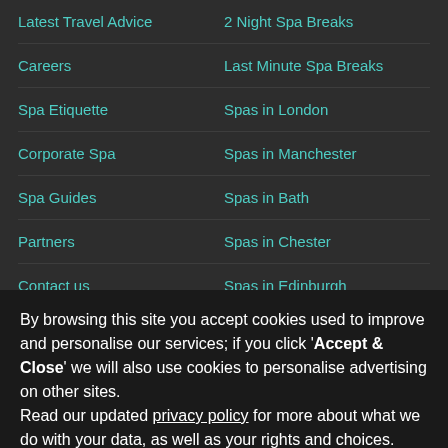Latest Travel Advice
2 Night Spa Breaks
Careers
Last Minute Spa Breaks
Spa Etiquette
Spas in London
Corporate Spa
Spas in Manchester
Spa Guides
Spas in Bath
Partners
Spas in Chester
Contact us
Spas in Edinburgh
By browsing this site you accept cookies used to improve and personalise our services; if you click 'Accept & Close' we will also use cookies to personalise advertising on other sites.
Read our updated privacy policy for more about what we do with your data, as well as your rights and choices.
Accept & close
Reject personalised marketing